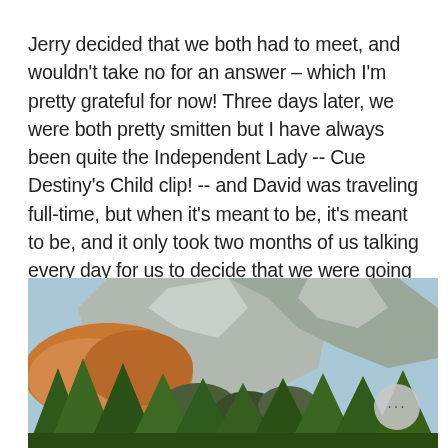Jerry decided that we both had to meet, and wouldn't take no for an answer – which I'm pretty grateful for now! Three days later, we were both pretty smitten but I have always been quite the Independent Lady -- Cue Destiny's Child clip! -- and David was traveling full-time, but when it's meant to be, it's meant to be, and it only took two months of us talking every day for us to decide that we were going to adventure around the world together!
[Figure (photo): Landscape photo of a rocky mountain cliff with autumn-colored trees and green pine trees in the foreground under a blue sky]